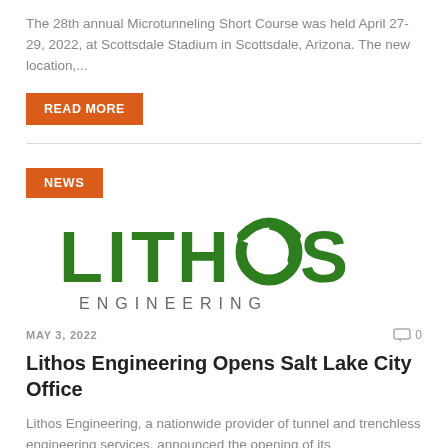The 28th annual Microtunneling Short Course was held April 27-29, 2022, at Scottsdale Stadium in Scottsdale, Arizona. The new location,...
READ MORE
NEWS
[Figure (logo): Lithos Engineering company logo — large green bold text 'LITHOS' with a green icon replacing the 'O', and gray text 'ENGINEERING' below]
MAY 3, 2022
0
Lithos Engineering Opens Salt Lake City Office
Lithos Engineering, a nationwide provider of tunnel and trenchless engineering services, announced the opening of its